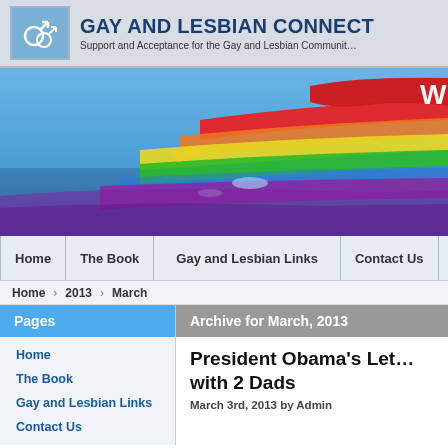GAY AND LESBIAN CONNECT — Support and Acceptance for the Gay and Lesbian Community
[Figure (illustration): Rainbow-colored abstract landscape on blue sky background, with a large red brush stroke in the upper right and a white letter W partially visible. Rainbow bands of red, yellow, green, and purple reflect on water.]
Home | The Book | Gay and Lesbian Links | Contact Us
Home  2013  March
Pages
Home
The Book
Gay and Lesbian Links
Contact Us
Archive for March, 2013
President Obama's Let… with 2 Dads
March 3rd, 2013 by Admin